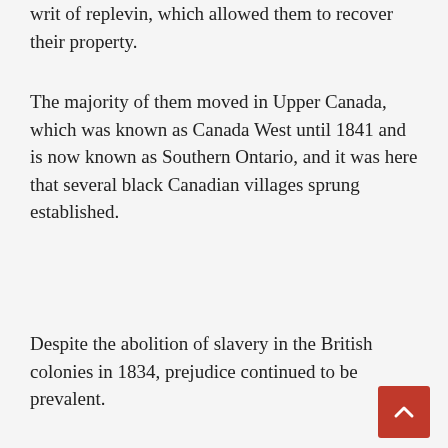writ of replevin, which allowed them to recover their property.
The majority of them moved in Upper Canada, which was known as Canada West until 1841 and is now known as Southern Ontario, and it was here that several black Canadian villages sprung established.
Despite the abolition of slavery in the British colonies in 1834, prejudice continued to be prevalent.
Following the war’s conclusion, many more others returned to the American South. It was a strong desire to reunite with friends and family, and most people were optimistic about the